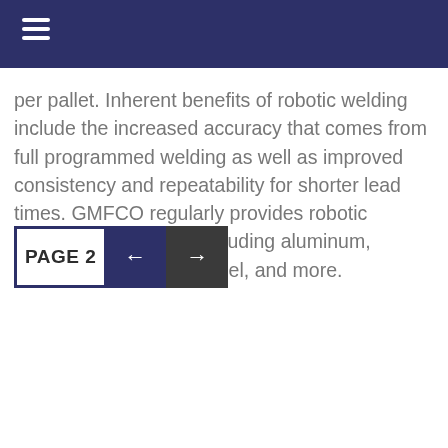per pallet. Inherent benefits of robotic welding include the increased accuracy that comes from fully programmed welding as well as improved consistency and repeatability for shorter lead times. GMFCO regularly provides robotic welding for materials including aluminum, carbon steel, stainless steel, and more.
PAGE 2